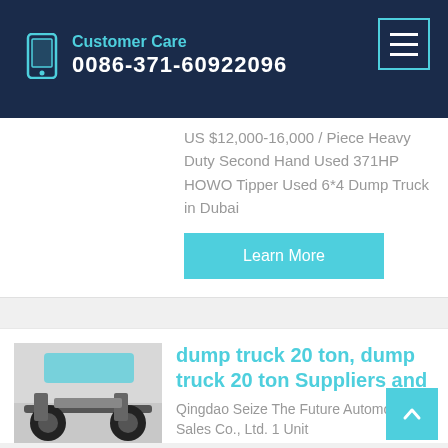Customer Care 0086-371-60922096
US $12,000-16,000 / Piece Heavy Duty Second Hand Used 371HP HOWO Tipper Used 6*4 Dump Truck in Dubai
Learn More
dump truck 20 ton, dump truck 20 ton Suppliers and
Qingdao Seize The Future Automobile Sales Co., Ltd. 1 Unit